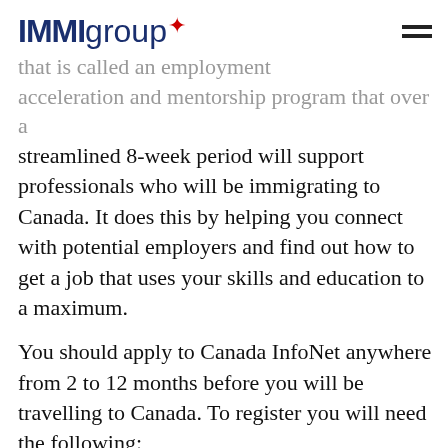IMMMIgroup
that is called an employment acceleration and mentorship program that over a streamlined 8-week period will support professionals who will be immigrating to Canada. It does this by helping you connect with potential employers and find out how to get a job that uses your skills and education to a maximum.
You should apply to Canada InfoNet anywhere from 2 to 12 months before you will be travelling to Canada. To register you will need the following:
An approved Canadian immigrant visa
To be planning to relocate to Canada within the next 2 to 12 months
The ability to write and communicate in English or French
Time and availability to commit to and participate